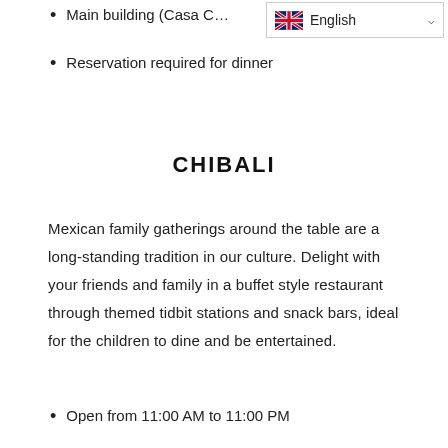Main building (Casa C… [partial, cut off]
Reservation required for dinner
CHIBALI
Mexican family gatherings around the table are a long-standing tradition in our culture. Delight with your friends and family in a buffet style restaurant through themed tidbit stations and snack bars, ideal for the children to dine and be entertained.
Open from 11:00 AM to 11:00 PM